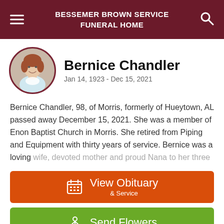BESSEMER BROWN SERVICE FUNERAL HOME
[Figure (photo): Circular portrait photo of Bernice Chandler, an older woman with short auburn hair, wearing a white top]
Bernice Chandler
Jan 14, 1923 - Dec 15, 2021
Bernice Chandler, 98, of Morris, formerly of Hueytown, AL passed away December 15, 2021. She was a member of Enon Baptist Church in Morris. She retired from Piping and Equipment with thirty years of service. Bernice was a loving wife, devoted mother and proud Nana to her three
View Obituary & Service
Send Flowers
Share